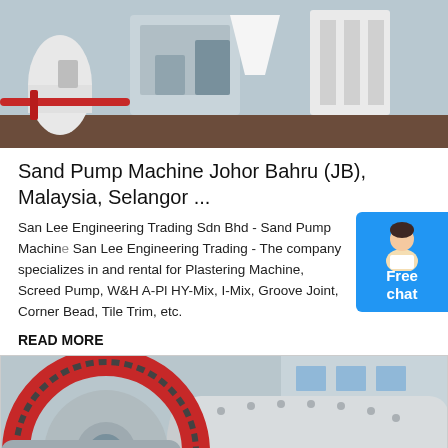[Figure (photo): Industrial machinery / equipment in a factory or warehouse setting, showing white and grey machines on a brown floor.]
Sand Pump Machine Johor Bahru (JB), Malaysia, Selangor ...
San Lee Engineering Trading Sdn Bhd - Sand Pump Machine San Lee Engineering Trading - The company specializes in and rental for Plastering Machine, Screed Pump, W&H A-Pl HY-Mix, I-Mix, Groove Joint, Corner Bead, Tile Trim, etc.
READ MORE
[Figure (photo): Close-up of large industrial ball mill machinery with red and grey gear mechanism, with XME Mining Equipment logo watermark.]